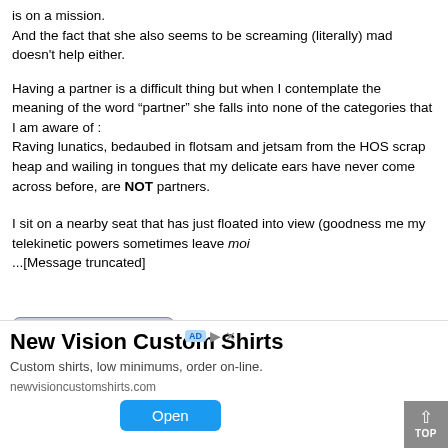is on a mission.
And the fact that she also seems to be screaming (literally) mad doesn't help either.
Having a partner is a difficult thing but when I contemplate the meaning of the word “partner” she falls into none of the categories that I am aware of :
Raving lunatics, bedaubed in flotsam and jetsam from the HOS scrap heap and wailing in tongues that my delicate ears have never come across before, are NOT partners.
I sit on a nearby seat that has just floated into view (goodness me my telekinetic powers sometimes leave moi
...[Message truncated]
[Figure (screenshot): A button labeled 'View Full Message' with rounded rectangle border, light purple/blue background.]
[Figure (screenshot): A dark image strip at the bottom of the page content area, partially showing a banner/image with the word 'confused' in italic script.]
[Figure (screenshot): Advertisement banner: New Vision Custom Shirts - Custom shirts, low minimums, order on-line. newvisioncustomshirts.com with an Open button. Has AD badge and X close button.]